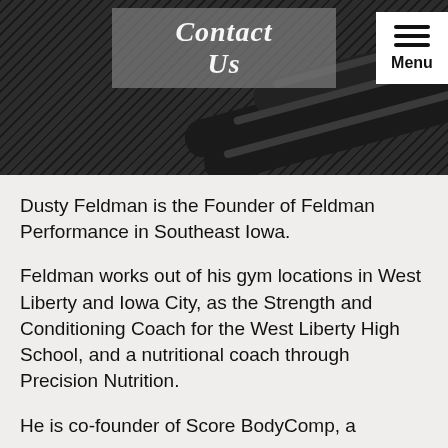[Figure (photo): Hero image of gym dumbbells/weights on dark rubber mat background with 'Contact Us' banner overlay and hamburger menu button in top right corner]
Contact Us
Dusty Feldman is the Founder of Feldman Performance in Southeast Iowa.
Feldman works out of his gym locations in West Liberty and Iowa City, as the Strength and Conditioning Coach for the West Liberty High School, and a nutritional coach through Precision Nutrition.
He is co-founder of Score BodyComp, a